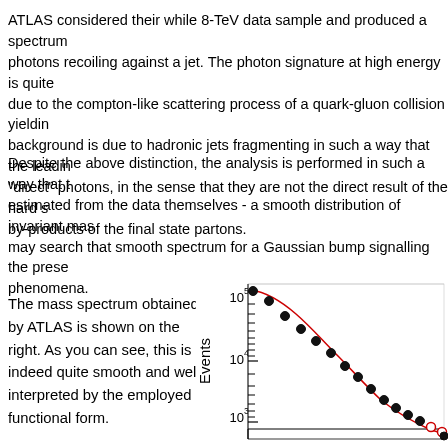ATLAS considered their while 8-TeV data sample and produced a spectrum of photons recoiling against a jet. The photon signature at high energy is quite due to the compton-like scattering process of a quark-gluon collision yielding background is due to hadronic jets fragmenting in such a way that the leading "direct" photons, in the sense that they are not the direct result of the hard s by-products of the final state partons.
Despite the above distinction, the analysis is performed in such a way that the estimated from the data themselves - a smooth distribution of invariant mas may search that smooth spectrum for a Gaussian bump signalling the prese phenomena.
The mass spectrum obtained by ATLAS is shown on the right. As you can see, this is indeed quite smooth and well interpreted by the employed functional form.
[Figure (continuous-plot): Mass spectrum plot from ATLAS showing Events on y-axis (logarithmic scale from 10^3 to 10^5) with data points (black filled circles) and a red fitted curve descending steeply. Open red circles appear at lower right. The x-axis is partially visible and cut off.]